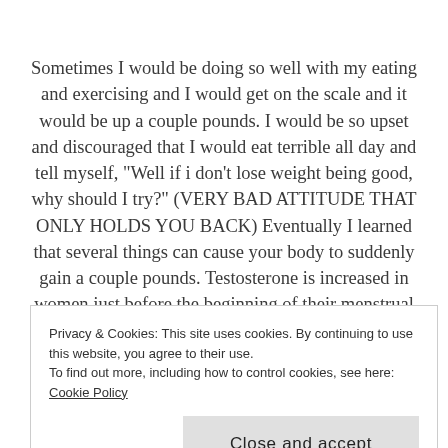Sometimes I would be doing so well with my eating and exercising and I would get on the scale and it would be up a couple pounds. I would be so upset and discouraged that I would eat terrible all day and tell myself, "Well if i don't lose weight being good, why should I try?" (VERY BAD ATTITUDE THAT ONLY HOLDS YOU BACK) Eventually I learned that several things can cause your body to suddenly gain a couple pounds. Testosterone is increased in women just before the beginning of their menstrual cycle.
Privacy & Cookies: This site uses cookies. By continuing to use this website, you agree to their use. To find out more, including how to control cookies, see here: Cookie Policy
Close and accept
carbohydrates one day can cause water retention